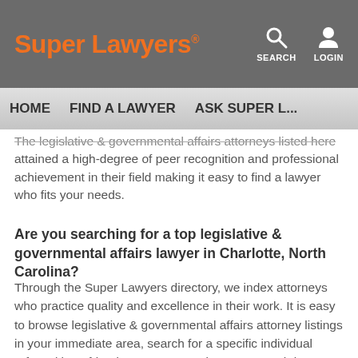Super Lawyers® | SEARCH | LOGIN
HOME | FIND A LAWYER | ASK SUPER L...
The legislative & governmental affairs attorneys listed here attained a high-degree of peer recognition and professional achievement in their field making it easy to find a lawyer who fits your needs.
Are you searching for a top legislative & governmental affairs lawyer in Charlotte, North Carolina?
Through the Super Lawyers directory, we index attorneys who practice quality and excellence in their work. It is easy to browse legislative & governmental affairs attorney listings in your immediate area, search for a specific individual referred by a friend, or start narrowing your search by practice area.